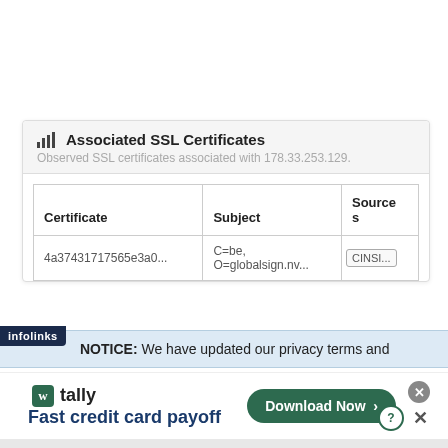Associated SSL Certificates
Observed SSL certificates associated with 178.33.253.129.
| Certificate | Subject | Sources |
| --- | --- | --- |
| 4a37431717565e3a0... | C=be, O=globalsign.nv... | CINSI... |
NOTICE: We have updated our privacy terms and
[Figure (screenshot): An advertisement banner for Tally app showing 'Fast credit card payoff' with a dark green Download Now button and close/question icons.]